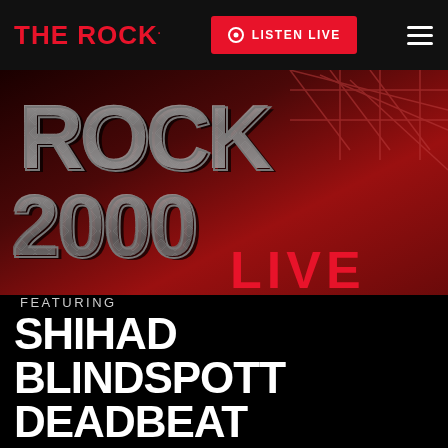THE ROCK. | LISTEN LIVE
[Figure (illustration): Rock 2000 Live concert poster with metallic diamond-plate lettering reading ROCK 2000 LIVE on a dark red industrial background with crane imagery]
FEATURING
SHIHAD
BLINDSPOTT
DEADBEAT